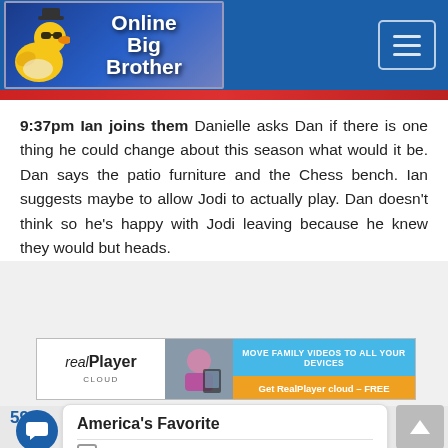Online Big Brother
9:37pm Ian joins them Danielle asks Dan if there is one thing he could change about this season what would it be. Dan says the patio furniture and the Chess bench. Ian suggests maybe to allow Jodi to actually play. Dan doesn't think so he's happy with Jodi leaving because he knew they would but heads.
[Figure (infographic): RealPlayer Cloud advertisement banner: Move Family Videos To All Your Devices. Get RealPlayer cloud - FREE]
59
America's Favorite
Britney